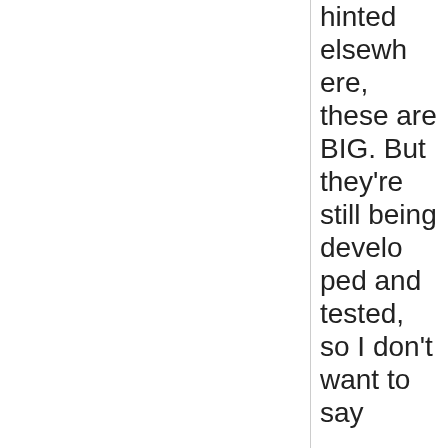hinted elsewhere, these are BIG. But they're still being developed and tested, so I don't want to say